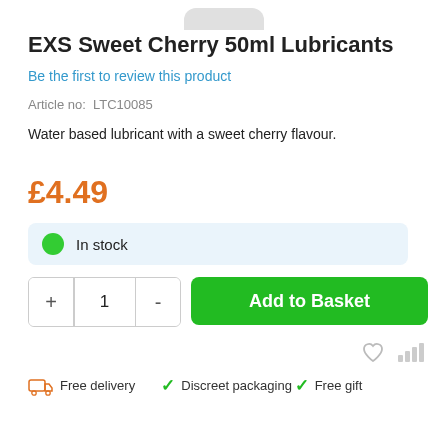[Figure (illustration): Top portion of a product bottle visible at top of page]
EXS Sweet Cherry 50ml Lubricants
Be the first to review this product
Article no: LTC10085
Water based lubricant with a sweet cherry flavour.
£4.49
In stock
Free delivery
Discreet packaging
Free gift